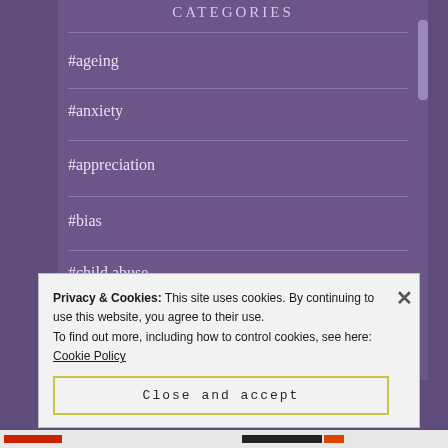CATEGORIES
#ageing
#anxiety
#appreciation
#bias
#child abuse
#childhood
Privacy & Cookies: This site uses cookies. By continuing to use this website, you agree to their use.
To find out more, including how to control cookies, see here: Cookie Policy
Close and accept